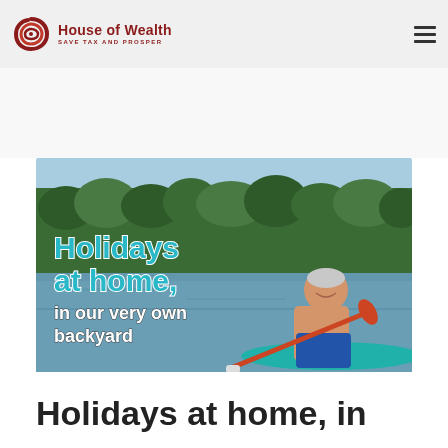House of Wealth — SAVE TAX AND PROSPER
[Figure (photo): An older man sitting on a paddleboard on a lake, holding a red paddle, smiling. Overlaid text reads: 'Holidays at home, in our very own backyard'. Background shows green forest trees and sky.]
Holidays at home, in